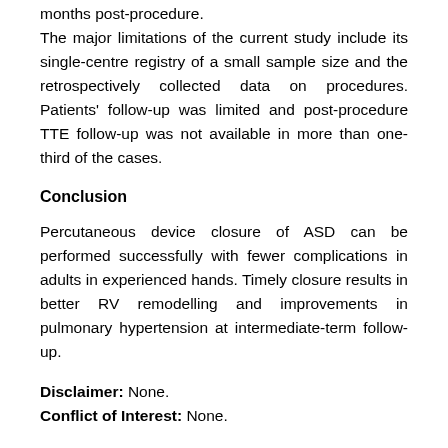months post-procedure. The major limitations of the current study include its single-centre registry of a small sample size and the retrospectively collected data on procedures. Patients' follow-up was limited and post-procedure TTE follow-up was not available in more than one-third of the cases.
Conclusion
Percutaneous device closure of ASD can be performed successfully with fewer complications in adults in experienced hands. Timely closure results in better RV remodelling and improvements in pulmonary hypertension at intermediate-term follow-up.
Disclaimer: None.
Conflict of Interest: None.